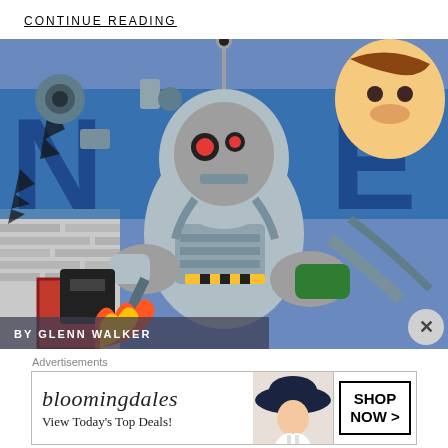CONTINUE READING
[Figure (illustration): Comic book style illustration of a metallic robot/cyborg character with glowing red eyes, surrounded by mechanical parts and cables, with a human face visible in the upper right corner. Bold colorful artwork in blue, silver, red and green tones.]
BY GLENN WALKER
Advertisements
[Figure (illustration): Bloomingdale's advertisement banner showing the bloomingdales logo, text 'View Today's Top Deals!' with a model wearing a large hat, and a 'SHOP NOW >' button in a box on the right side.]